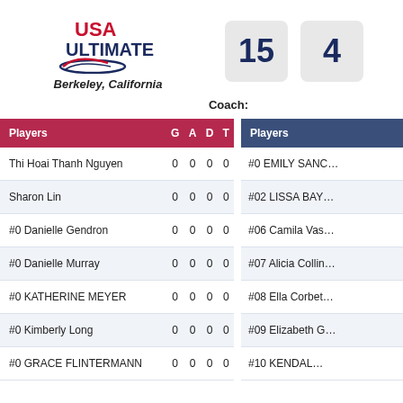[Figure (logo): USA Ultimate logo with frisbee graphic]
Berkeley, California
15   4
Coach:
| Players | G | A | D | T |
| --- | --- | --- | --- | --- |
| Thi Hoai Thanh Nguyen | 0 | 0 | 0 | 0 |
| Sharon Lin | 0 | 0 | 0 | 0 |
| #0 Danielle Gendron | 0 | 0 | 0 | 0 |
| #0 Danielle Murray | 0 | 0 | 0 | 0 |
| #0 KATHERINE MEYER | 0 | 0 | 0 | 0 |
| #0 Kimberly Long | 0 | 0 | 0 | 0 |
| #0 GRACE FLINTERMANN | 0 | 0 | 0 | 0 |
| Players |
| --- |
| #0 EMILY SANC... |
| #02 LISSA BAY... |
| #06 Camila Vas... |
| #07 Alicia Collin... |
| #08 Ella Corbet... |
| #09 Elizabeth G... |
| #10 KENDAL... |